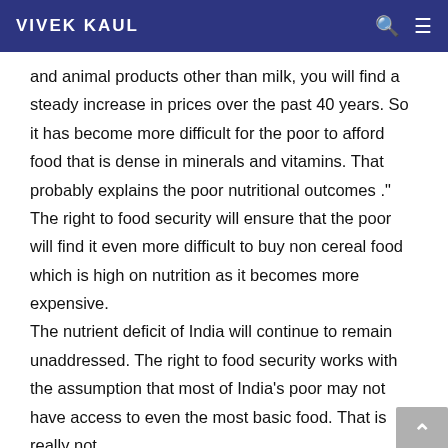VIVEK KAUL
and animal products other than milk, you will find a steady increase in prices over the past 40 years. So it has become more difficult for the poor to afford food that is dense in minerals and vitamins. That probably explains the poor nutritional outcomes ." The right to food security will ensure that the poor will find it even more difficult to buy non cereal food which is high on nutrition as it becomes more expensive. The nutrient deficit of India will continue to remain unaddressed. The right to food security works with the assumption that most of India's poor may not have access to even the most basic food. That is really not